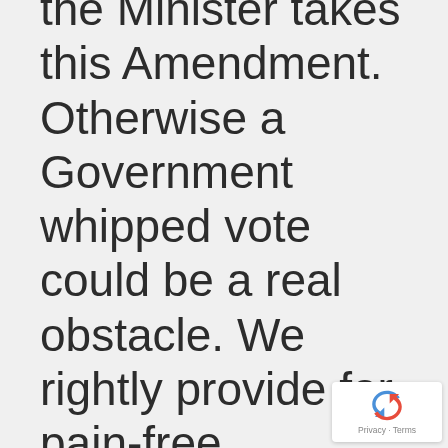the Minister takes this Amendment. Otherwise a Government whipped vote could be a real obstacle. We rightly provide for pain-free procedures for animals. It is the very least we can do